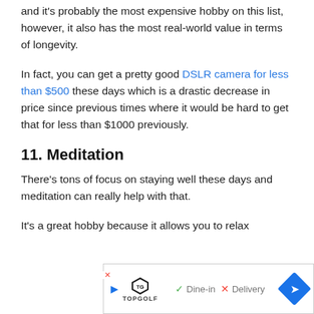and it's probably the most expensive hobby on this list, however, it also has the most real-world value in terms of longevity.
In fact, you can get a pretty good DSLR camera for less than $500 these days which is a drastic decrease in price since previous times where it would be hard to get that for less than $1000 previously.
11. Meditation
There's tons of focus on staying well these days and meditation can really help with that.
It's a great hobby because it allows you to relax
[Figure (other): Advertisement banner for Topgolf showing play icon, Topgolf logo, Dine-in and Delivery options, and navigation diamond icon]